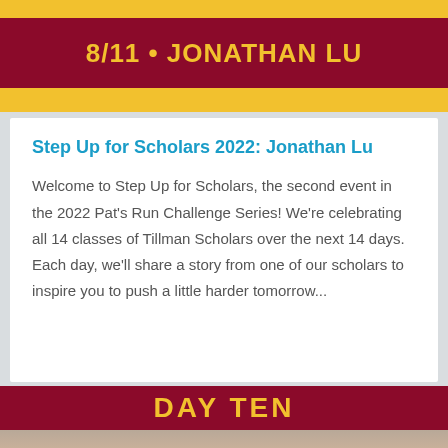[Figure (infographic): Top banner with golden yellow background and dark maroon/crimson strip containing the text '8/11 • JONATHAN LU' in bold gold letters]
Step Up for Scholars 2022: Jonathan Lu
Welcome to Step Up for Scholars, the second event in the 2022 Pat's Run Challenge Series! We're celebrating all 14 classes of Tillman Scholars over the next 14 days. Each day, we'll share a story from one of our scholars to inspire you to push a little harder tomorrow...
[Figure (infographic): Bottom banner with golden yellow background and dark maroon strip containing the text 'DAY TEN' in bold gold letters, with a partial photo of a person visible at the very bottom]